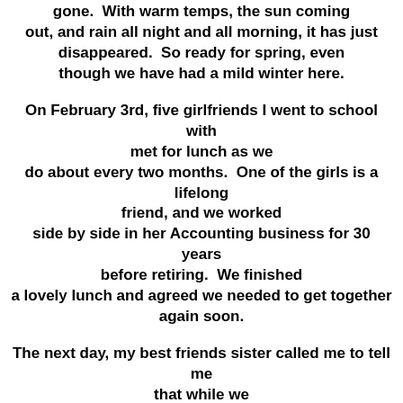gone.  With warm temps, the sun coming out, and rain all night and all morning, it has just disappeared.  So ready for spring, even though we have had a mild winter here.
On February 3rd, five girlfriends I went to school with met for lunch as we do about every two months.  One of the girls is a lifelong friend, and we worked side by side in her Accounting business for 30 years before retiring.  We finished a lovely lunch and agreed we needed to get together again soon.
The next day, my best friends sister called me to tell me that while we were enjoying a lovely lunch my friends house had a terrible fire and all was lost.  She had worked for ten years to get the house just like she wanted it and at lunch that day, she remarked that she was just going to enjoy her garden (big